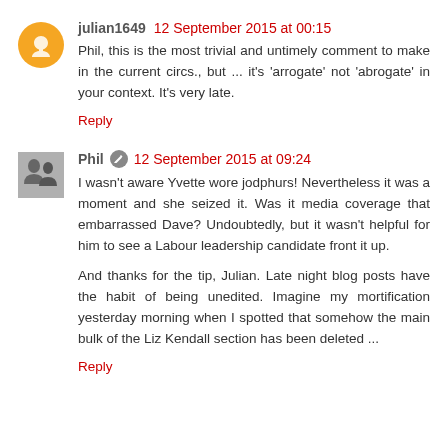julian1649  12 September 2015 at 00:15
Phil, this is the most trivial and untimely comment to make in the current circs., but ... it's 'arrogate' not 'abrogate' in your context. It's very late.
Reply
Phil  12 September 2015 at 09:24
I wasn't aware Yvette wore jodphurs! Nevertheless it was a moment and she seized it. Was it media coverage that embarrassed Dave? Undoubtedly, but it wasn't helpful for him to see a Labour leadership candidate front it up.
And thanks for the tip, Julian. Late night blog posts have the habit of being unedited. Imagine my mortification yesterday morning when I spotted that somehow the main bulk of the Liz Kendall section has been deleted ...
Reply